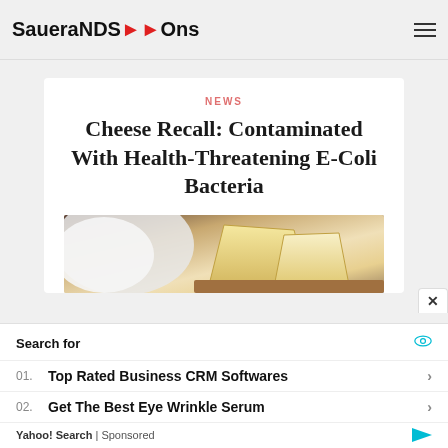SaueraNDS→Ons
NEWS
Cheese Recall: Contaminated With Health-Threatening E-Coli Bacteria
[Figure (photo): Photo of cheese wedges on a wooden board with white wrapping]
Search for
01. Top Rated Business CRM Softwares
02. Get The Best Eye Wrinkle Serum
Yahoo! Search | Sponsored